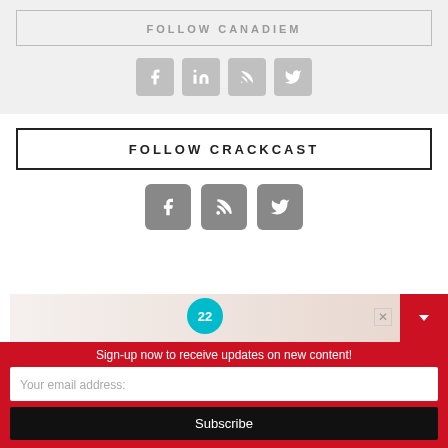FOLLOW CANADIEM
[Figure (infographic): Social media icons: Facebook, LinkedIn, RSS, Twitter - grey rounded squares]
FOLLOW CRACKCAST
[Figure (infographic): Social media icons: Facebook, RSS, Twitter - dark grey rounded squares]
[Figure (infographic): Advertisement banner with number 22 badge and close button]
Sign-up now to receive updates on new content!
Your email address:
Subscribe